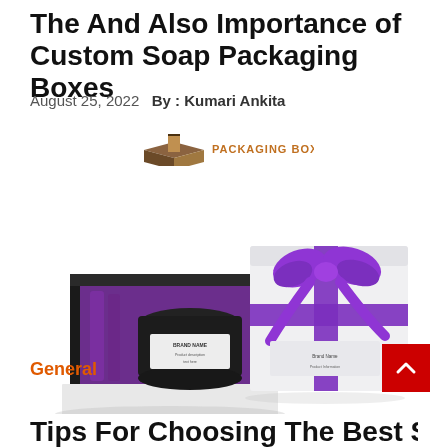The And Also Importance of Custom Soap Packaging Boxes
August 25, 2022  By : Kumari Ankita
[Figure (logo): Packaging Boxes logo with a brown box icon and orange text]
[Figure (photo): A luxury soap/cosmetic gift box set: an open black box with purple interior holding a dark jar with white label, alongside a white lidded box tied with a purple satin ribbon bow]
General
Tips For Choosing The Best Small